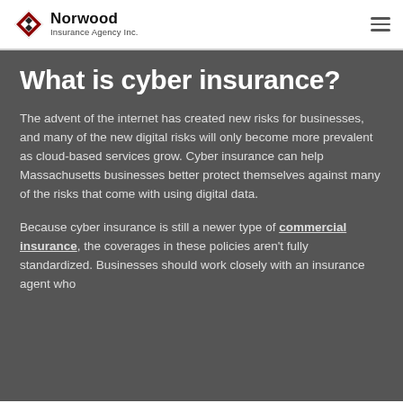Norwood Insurance Agency Inc.
What is cyber insurance?
The advent of the internet has created new risks for businesses, and many of the new digital risks will only become more prevalent as cloud-based services grow. Cyber insurance can help Massachusetts businesses better protect themselves against many of the risks that come with using digital data.
Because cyber insurance is still a newer type of commercial insurance, the coverages in these policies aren't fully standardized. Businesses should work closely with an insurance agent who